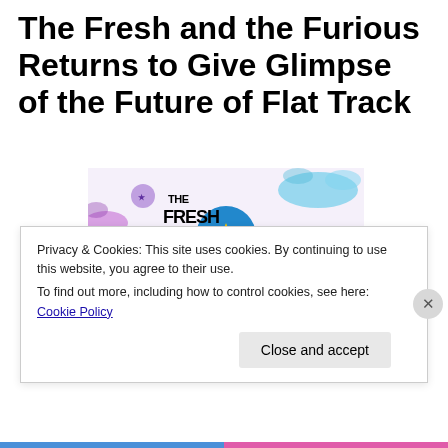The Fresh and the Furious Returns to Give Glimpse of the Future of Flat Track
[Figure (illustration): Promotional poster for 'The Fresh and the Furious 2015' roller derby event, featuring illustrated roller derby players and a referee, with colorful paint splatter design and stylized bold text logo.]
Privacy & Cookies: This site uses cookies. By continuing to use this website, you agree to their use.
To find out more, including how to control cookies, see here: Cookie Policy